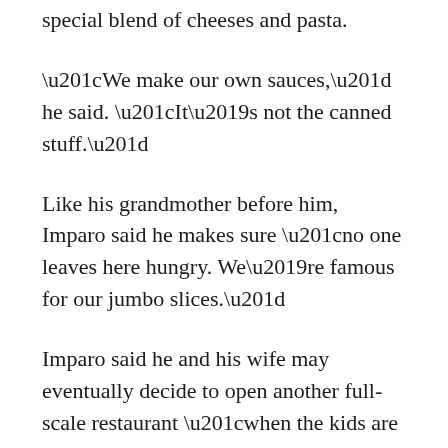special blend of cheeses and pasta.
“We make our own sauces,” he said. “It’s not the canned stuff.”
Like his grandmother before him, Imparo said he makes sure “no one leaves here hungry. We’re famous for our jumbo slices.”
Imparo said he and his wife may eventually decide to open another full-scale restaurant “when the kids are a little older.”
For now, “I like this much better,” he said. “I can take it easy for a while.”